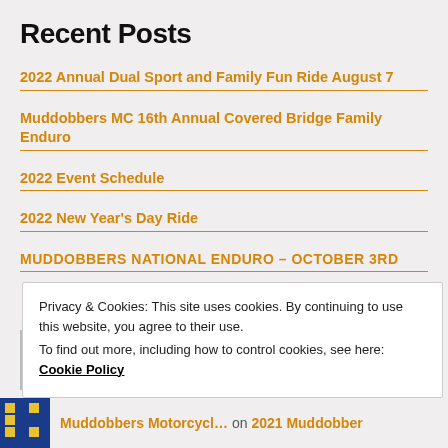Recent Posts
2022 Annual Dual Sport and Family Fun Ride August 7
Muddobbers MC 16th Annual Covered Bridge Family Enduro
2022 Event Schedule
2022 New Year's Day Ride
MUDDOBBERS NATIONAL ENDURO – OCTOBER 3rd
Privacy & Cookies: This site uses cookies. By continuing to use this website, you agree to their use.
To find out more, including how to control cookies, see here: Cookie Policy
Close and accept
Muddobbers Motorcycl… on 2021 Muddobber